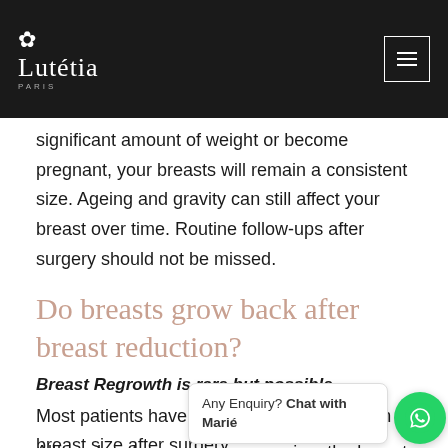Lutétia Paris
significant amount of weight or become pregnant, your breasts will remain a consistent size. Ageing and gravity can still affect your breast over time. Routine follow-ups after surgery should not be missed.
Do breasts grow back after breast reduction?
Breast Regrowth is rare but possible
Most patients have a permanent reduction in breast size after surgery.
Although not common, on occasion, the breast tissue can grow back